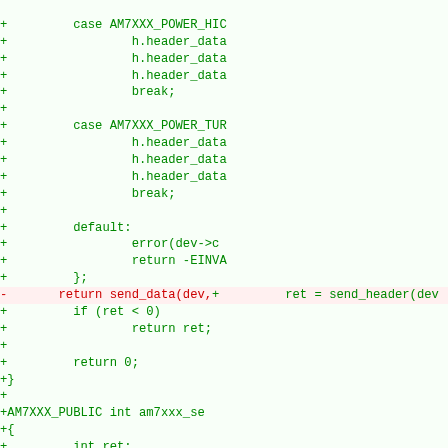[Figure (screenshot): A code diff view showing removed lines (red, left side) and added lines (green, right side) of a C source file. The removed line shows 'return send_data(dev,' and the added lines show a switch-case block with AM7XXX_POWER_HIG and AM7XXX_POWER_TUR cases, header_data assignments, break statements, default case with error and return -EINV, closing brace, then ret = send_header, if (ret < 0) return ret, return 0, closing brace, AM7XXX_PUBLIC int am7xxx_se, opening brace, int ret, struct am7xxx_header with .packet_type, .direction, .header_data_, .unknown2 fields.]